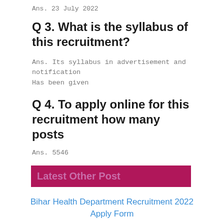Ans. 23 July 2022
Q 3. What is the syllabus of this recruitment?
Ans. Its syllabus in advertisement and notification Has been given
Q 4. To apply online for this recruitment how many posts
Ans. 5546
Latest Other Post
Bihar Health Department Recruitment 2022 Apply Form
Join Telegram channel More Information Join